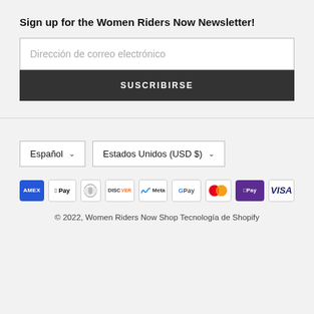Sign up for the Women Riders Now Newsletter!
Dirección de correo electrónico
SUSCRIBIRSE
Español ∨
Estados Unidos (USD $) ∨
[Figure (logo): Payment method logos: American Express, Apple Pay, Diners Club, Discover, Meta Pay, Google Pay, Mastercard, Shop Pay, Visa]
© 2022, Women Riders Now Shop Tecnología de Shopify